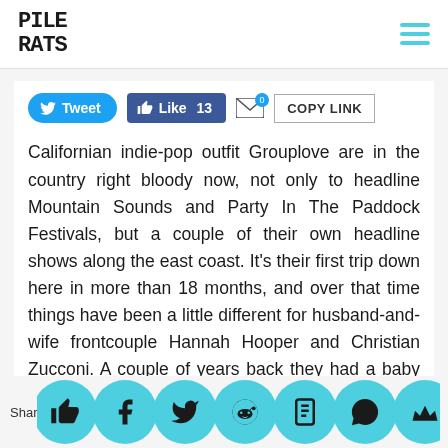PILE RATS
Californian indie-pop outfit Grouplove are in the country right bloody now, not only to headline Mountain Sounds and Party In The Paddock Festivals, but a couple of their own headline shows along the east coast. It's their first trip down here in more than 18 months, and over that time things have been a little different for husband-and-wife frontcouple Hannah Hooper and Christian Zucconi. A couple of years back they had a baby together, which as we're sure you can imagine changes the dynamic of the rock'n'roll touring lifestyle...or does it? We asked Hannah and Christian for a list of Pros and Cons when it comes to tour life with a baby to find out, check it out el... and...d...e...in...er
Share [social icons]